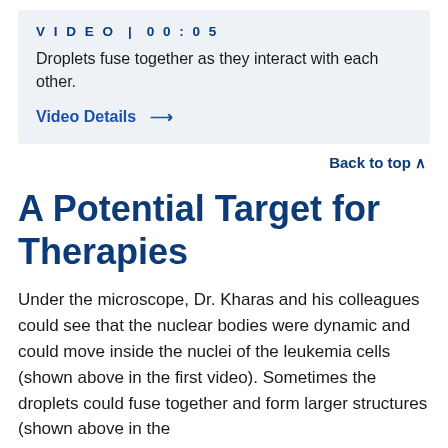[Figure (other): Video thumbnail box with label VIDEO | 00:05, description text, and Video Details link]
Back to top ^
A Potential Target for Therapies
Under the microscope, Dr. Kharas and his colleagues could see that the nuclear bodies were dynamic and could move inside the nuclei of the leukemia cells (shown above in the first video). Sometimes the droplets could fuse together and form larger structures (shown above in the